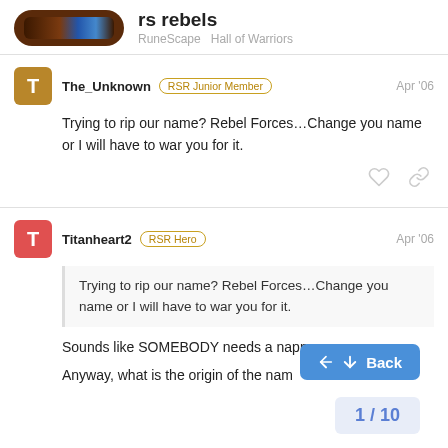rs rebels — RuneScape  Hall of Warriors
The_Unknown [RSR Junior Member] Apr '06
Trying to rip our name? Rebel Forces…Change you name or I will have to war you for it.
Titanheart2 [RSR Hero] Apr '06
Trying to rip our name? Rebel Forces...Change you name or I will have to war you for it.
Sounds like SOMEBODY needs a nappy
Anyway, what is the origin of the nam